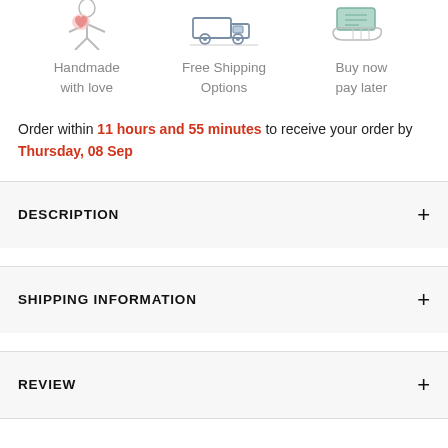[Figure (illustration): Three icons: a handmade figure (person with pink heart), a car/truck for free shipping, and a hand holding money/card for buy now pay later]
Handmade with love
Free Shipping Options
Buy now pay later
Order within 11 hours and 55 minutes to receive your order by Thursday, 08 Sep
DESCRIPTION
SHIPPING INFORMATION
REVIEW